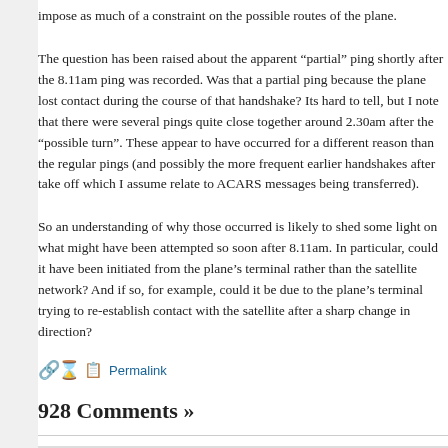impose as much of a constraint on the possible routes of the plane.
The question has been raised about the apparent “partial” ping shortly after the 8.11am ping was recorded. Was that a partial ping because the plane lost contact during the course of that handshake? Its hard to tell, but I note that there were several pings quite close together around 2.30am after the “possible turn”. These appear to have occurred for a different reason than the regular pings (and possibly the more frequent earlier handshakes after take off which I assume relate to ACARS messages being transferred).
So an understanding of why those occurred is likely to shed some light on what might have been attempted so soon after 8.11am. In particular, could it have been initiated from the plane’s terminal rather than the satellite network? And if so, for example, could it be due to the plane’s terminal trying to re-establish contact with the satellite after a sharp change in direction?
Permalink
928 Comments »
Alex Siew said,
March 24, 2014 at 10:45 pm
Has anyone considered the theory that the plane was struck by lightning